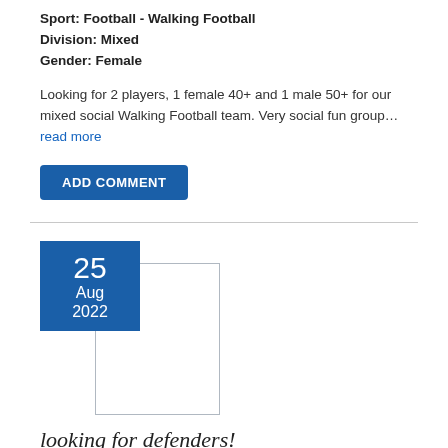Sport: Football - Walking Football
Division: Mixed
Gender: Female
Looking for 2 players, 1 female 40+ and 1 male 50+ for our mixed social Walking Football team. Very social fun group...read more
ADD COMMENT
[Figure (other): Calendar icon showing date 25 Aug 2022 with blue header block and grey bordered box]
looking for defenders!